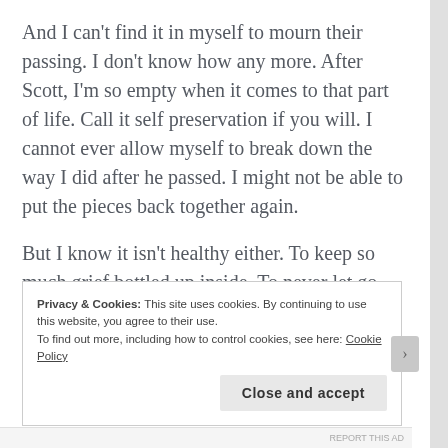And I can't find it in myself to mourn their passing. I don't know how any more. After Scott, I'm so empty when it comes to that part of life. Call it self preservation if you will. I cannot ever allow myself to break down the way I did after he passed. I might not be able to put the pieces back together again.
But I know it isn't healthy either. To keep so much grief bottled up inside. To never let go and say goodbye. I just wish that my friends and family would stop dying for a little while. Give us a break.
Privacy & Cookies: This site uses cookies. By continuing to use this website, you agree to their use.
To find out more, including how to control cookies, see here: Cookie Policy